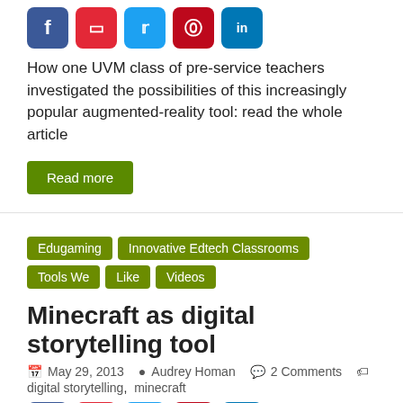[Figure (other): Social share buttons: Facebook (blue), Flipboard (red), Twitter (cyan), Pinterest (red), LinkedIn (blue)]
How one UVM class of pre-service teachers investigated the possibilities of this increasingly popular augmented-reality tool: read the whole article
Read more
Edugaming
Innovative Edtech Classrooms
Tools We Like
Videos
Minecraft as digital storytelling tool
May 29, 2013   Audrey Homan   2 Comments   digital storytelling, minecraft
[Figure (other): Social share buttons: Facebook (blue), Flipboard (red), Twitter (cyan), Pinterest (red), LinkedIn (blue)]
“Grand Theft Diamond”, a video from Flood Brook Union School’s 6th graders, shows how the popular game